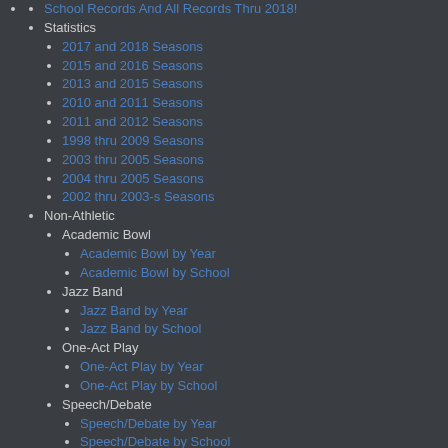School Records And All Records Thru 2018!
Statistics
2017 and 2018 Seasons
2015 and 2016 Seasons
2013 and 2015 Seasons
2010 and 2011 Seasons
2011 and 2012 Seasons
1998 thru 2009 Seasons
2003 thru 2005 Seasons
2004 thru 2005 Seasons
2002 thru 2003-s Seasons
Non-Athletic
Academic Bowl
Academic Bowl by Year
Academic Bowl by School
Jazz Band
Jazz Band by Year
Jazz Band by School
One-Act Play
One-Act Play by Year
One-Act Play by School
Speech/Debate
Speech/Debate by Year
Speech/Debate by School
Academic
2017/18 Academic Championship Count
By SASKS
By YEAR
Number of Lawrence state Championships
Stuff
Link to Schell's Page
Championships in KSAS Class Measures
Historical KSAS School Names Count
Active Old-Time Wild hippos
High School Games Changed to LS
Currently in the ND
Blog